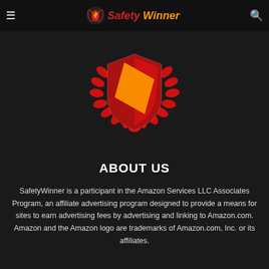Safety Winner
[Figure (logo): SafetyWinner shield logo with laurel wreath. A red and gold/orange shield in the center surrounded by a red laurel wreath on a dark background.]
ABOUT US
SafetyWinner is a participant in the Amazon Services LLC Associates Program, an affiliate advertising program designed to provide a means for sites to earn advertising fees by advertising and linking to Amazon.com. Amazon and the Amazon logo are trademarks of Amazon.com, Inc. or its affiliates.